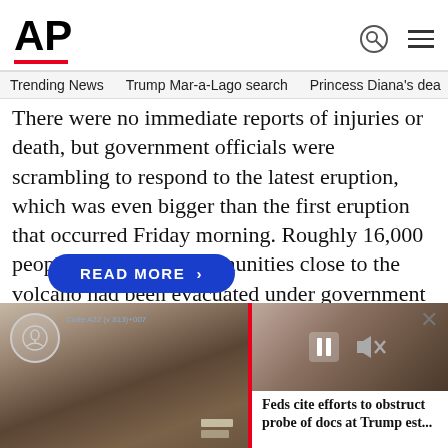AP
Trending News   Trump Mar-a-Lago search   Princess Diana's dea
There were no immediate reports of injuries or death, but government officials were scrambling to respond to the latest eruption, which was even bigger than the first eruption that occurred Friday morning. Roughly 16,000 people who live in communities close to the volcano had been evacuated under government orders on Thursday, but an unknown number have remained behind and
READ MORE
[Figure (photo): Photo of documents/items at Trump estate with accessibility icon overlay and video player widget. Overlay caption reads: Feds cite efforts to obstruct probe of docs at Trump est...]